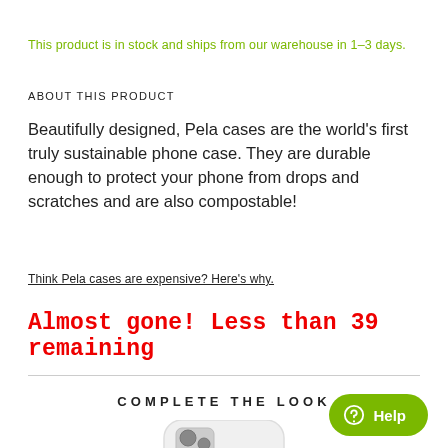This product is in stock and ships from our warehouse in 1–3 days.
ABOUT THIS PRODUCT
Beautifully designed, Pela cases are the world's first truly sustainable phone case. They are durable enough to protect your phone from drops and scratches and are also compostable!
Think Pela cases are expensive? Here's why.
Almost gone! Less than 39 remaining
COMPLETE THE LOOK
[Figure (photo): White Pela phone case for iPhone]
[Figure (other): Green Help button with chat icon]